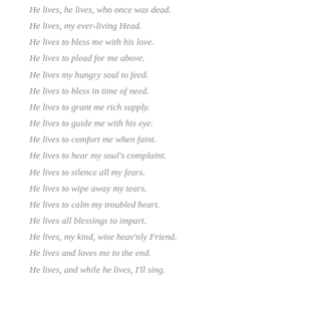He lives, he lives, who once was dead.
He lives, my ever-living Head.
He lives to bless me with his love.
He lives to plead for me above.
He lives my hungry soul to feed.
He lives to bless in time of need.
He lives to grant me rich supply.
He lives to guide me with his eye.
He lives to comfort me when faint.
He lives to hear my soul's complaint.
He lives to silence all my fears.
He lives to wipe away my tears.
He lives to calm my troubled heart.
He lives all blessings to impart.
He lives, my kind, wise heav'nly Friend.
He lives and loves me to the end.
He lives, and while he lives, I'll sing.